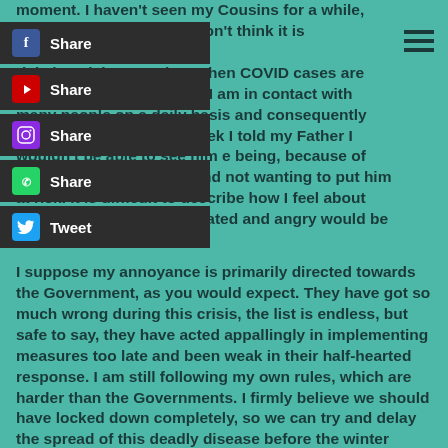moment. I haven't seen my Cousins for a while, due to the situation and don't think it is appropriate to put them at risk, by mixing at a time when COVID cases are rising across the country. I am in contact with many people on a daily basis and consequently avoid those closest if I feel I need. This week I told my Father I wouldn't be able to see him for the time being, because of the spiralling pandemic and not wanting to put him at risk. It is difficult to describe how I feel about this deep down, but frustrated and angry would be an understatement.
I suppose my annoyance is primarily directed towards the Government, as you would expect. They have got so much wrong during this crisis, the list is endless, but safe to say, they have acted appallingly in implementing measures too late and been weak in their half-hearted response. I am still following my own rules, which are harder than the Governments. I firmly believe we should have locked down completely, so we can try and delay the spread of this deadly disease before the winter months kick in. if we don't act now, we will be back in the same situation we were in during the